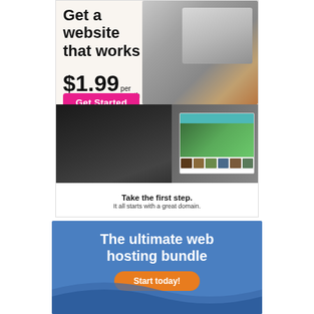[Figure (infographic): Domain.com web hosting advertisement with laptop photo, man working on bicycle, website preview screenshot, tagline 'Take the first step. It all starts with a great domain.' and Domain.com logo with BUY NOW button.]
Get a website that works
$1.99 per month
Get Started
Take the first step.
It all starts with a great domain.
DOMAIN.COM
BUY NOW
[Figure (infographic): Blue banner advertisement: 'The ultimate web hosting bundle' with orange 'Start today!' button on blue background with wave design.]
The ultimate web hosting bundle
Start today!